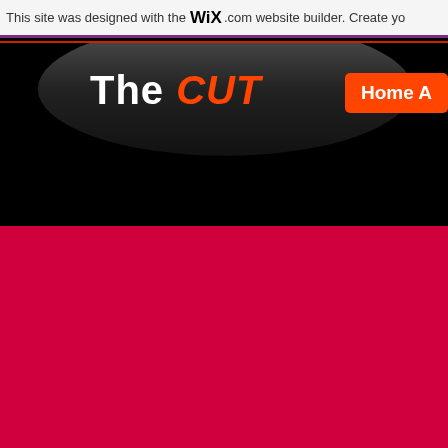This site was designed with the WiX.com website builder. Create yo
The CUT
Home A
[Figure (other): Large red/crimson background area filling the lower portion of the page]